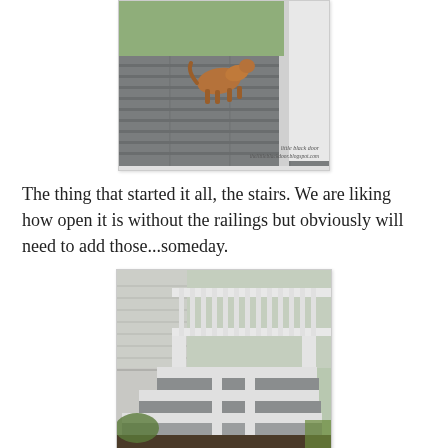[Figure (photo): A dog walking on a gray composite deck near white porch railings, viewed from above. Watermark reads 'little black door / thelittleblackdoor.blogspot.com']
The thing that started it all, the stairs. We are liking how open it is without the railings but obviously will need to add those...someday.
[Figure (photo): Exterior stairs with gray-painted treads and white risers/stringers leading up to a deck with white railing balusters, viewed from ground level.]